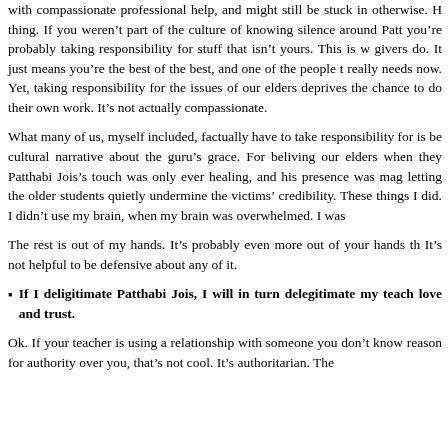with compassionate professional help, and might still be stuck in otherwise. H thing. If you weren’t part of the culture of knowing silence around Patt you’re probably taking responsibility for stuff that isn’t yours. This is w givers do. It just means you’re the best of the best, and one of the people t really needs now. Yet, taking responsibility for the issues of our elders derive the chance to do their own work. It’s not actually compassionate.
What many of us, myself included, factually have to take responsibility for is be cultural narrative about the guru’s grace. For beliving our elders when they Patthabi Jois’s touch was only ever healing, and his presence was mag letting the older students quietly undermine the victims’ credibility. These things I did. I didn’t use my brain, when my brain was overwhelmed. I was
The rest is out of my hands. It’s probably even more out of your hands th It’s not helpful to be defensive about any of it.
If I deligitimate Patthabi Jois, I will in turn delegitimate my teach love and trust.
Ok. If your teacher is using a relationship with someone you don’t know reason for authority over you, that’s not cool. It’s authoritarian. The